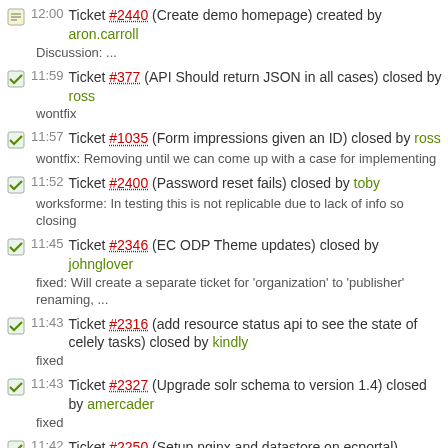12:00 Ticket #2440 (Create demo homepage) created by aron.carroll
Discussion: ...
11:59 Ticket #377 (API Should return JSON in all cases) closed by ross
wontfix
11:57 Ticket #1035 (Form impressions given an ID) closed by ross
wontfix: Removing until we can come up with a case for implementing
11:52 Ticket #2400 (Password reset fails) closed by toby
worksforme: In testing this is not replicable due to lack of info so closing
11:45 Ticket #2346 (EC ODP Theme updates) closed by johnglover
fixed: Will create a separate ticket for 'organization' to 'publisher' renaming, ...
11:43 Ticket #2316 (add resource status api to see the state of celely tasks) closed by kindly
fixed
11:43 Ticket #2327 (Upgrade solr schema to version 1.4) closed by amercader
fixed
11:42 Ticket #2250 (Setup nginx and datastore on ecportal) closed by kindly
fixed
11:42 Ticket #2224 (Simplify javascript and css dependencies and add minified version) closed by ross
wontfix: Being done by Aron